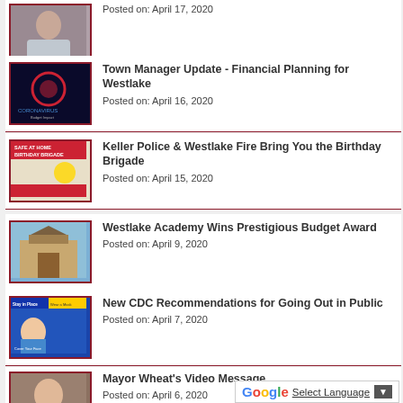Posted on: April 17, 2020
Town Manager Update - Financial Planning for Westlake
Posted on: April 16, 2020
Keller Police & Westlake Fire Bring You the Birthday Brigade
Posted on: April 15, 2020
Westlake Academy Wins Prestigious Budget Award
Posted on: April 9, 2020
New CDC Recommendations for Going Out in Public
Posted on: April 7, 2020
Mayor Wheat's Video Message
Posted on: April 6, 2020